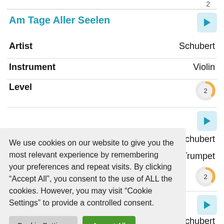2
Am Tage Aller Seelen
Artist   Schubert
Instrument   Violin
Level   2
Schubert
Trumpet
2
Schubert
Clarinet
2
We use cookies on our website to give you the most relevant experience by remembering your preferences and repeat visits. By clicking “Accept All”, you consent to the use of ALL the cookies. However, you may visit “Cookie Settings” to provide a controlled consent.
Cookie Settings
Accept All